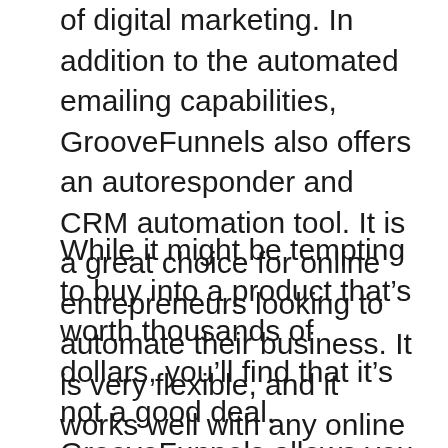of digital marketing. In addition to the automated emailing capabilities, GrooveFunnels also offers an autoresponder and CRM automation tool. It is a great choice for online entrepreneurs looking to automate their business. It is very flexible, and it works well with any online business.
While it might be tempting to buy into a product that’s worth thousands of dollars, you’ll find that it’s not a good deal. GrooveFunnels allows you to be an affiliate and also allow you to sell front-end products. As an added bonus, it is easy to connect different payment gateways to your funnels. As a bonus, you can also set up a custom thank-you page.